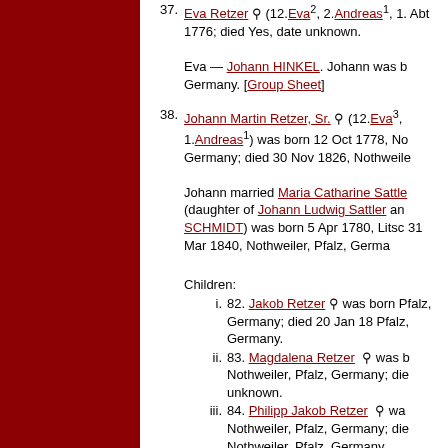37. Eva Retzer (12.Eva², 2.Andreas¹, 1.) Abt 1776; died Yes, date unknown. Eva — Johann HINKEL. Johann was born Germany. [Group Sheet]
38. Johann Martin Retzer, Sr. (12.Eva³, 1.Andreas¹) was born 12 Oct 1778, Nothweiler, Germany; died 30 Nov 1826, Nothweiler. Johann married Maria Catharine Sattler (daughter of Johann Ludwig Sattler and SCHMIDT) was born 5 Apr 1780, Litschbach; died 31 Mar 1840, Nothweiler, Pfalz, Germany. Children: i. 82. Jakob Retzer was born, Pfalz, Germany; died 20 Jan 18, Pfalz, Germany. ii. 83. Magdalena Retzer was born Nothweiler, Pfalz, Germany; died date unknown. iii. 84. Philipp Jakob Retzer was born Nothweiler, Pfalz, Germany; died Nothweiler, Pfalz, Germany. iv. 85. Marie Catherine Retzer was born 1808, Nothweiler, Pfalz, Germany; died date unknown. v. 86. Eva ELISABETH Retzer was born 1809, Nothweiler, Pfalz, Germany; died 1874. vi. 87. Konrad Retzer was born.